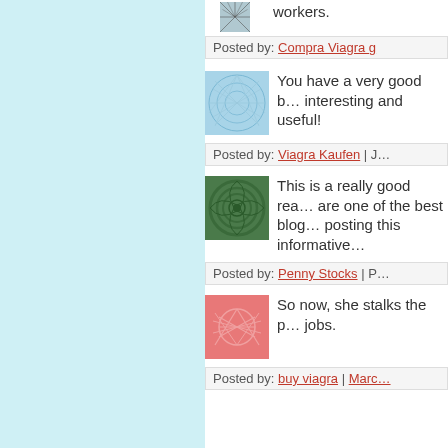workers.
Posted by: Compra Viagra g…
[Figure (illustration): Blue network/fiber abstract avatar image]
You have a very good b… interesting and useful!
Posted by: Viagra Kaufen | J…
[Figure (illustration): Green spiral abstract avatar image]
This is a really good rea… are one of the best blog… posting this informative…
Posted by: Penny Stocks | P…
[Figure (illustration): Pink/red network abstract avatar image]
So now, she stalks the p… jobs.
Posted by: buy viagra | Marc…